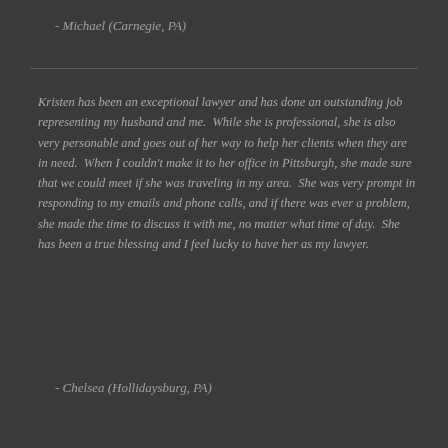- Michael (Carnegie, PA)
Kristen has been an exceptional lawyer and has done an outstanding job representing my husband and me. While she is professional, she is also very personable and goes out of her way to help her clients when they are in need. When I couldn't make it to her office in Pittsburgh, she made sure that we could meet if she was traveling in my area. She was very prompt in responding to my emails and phone calls, and if there was ever a problem, she made the time to discuss it with me, no matter what time of day. She has been a true blessing and I feel lucky to have her as my lawyer.
- Chelsea (Hollidaysburg, PA)